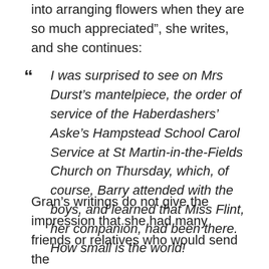into arranging flowers when they are so much appreciated”, she writes, and she continues:
“ I was surprised to see on Mrs Durst’s mantelpiece, the order of service of the Haberdashers’ Aske’s Hampstead School Carol Service at St Martin-in-the-Fields Church on Thursday, which, of course, Barry attended with the boys, and learned that Miss Flint, her companion, had been there. How small is the world!
Gran’s writings do not give the impression that she had many friends or relatives who would send the